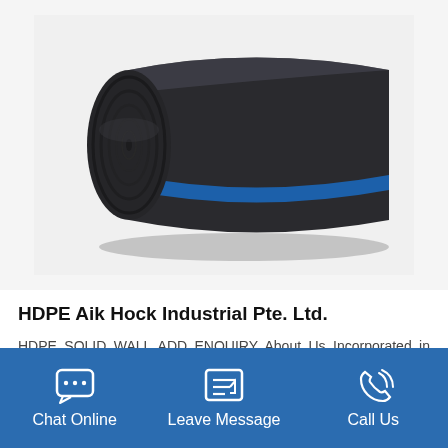[Figure (photo): A black HDPE pipe/cylinder shown at an angle, with concentric rings visible on the left end face and a blue stripe along the body, photographed against a white background.]
HDPE Aik Hock Industrial Pte. Ltd.
HDPE SOLID WALL ADD ENQUIRY About Us Incorporated in 1985, Aik Hock Hardware Engineering Pte Ltd started as hardware supplier for local Singapore market. Over the
Chat Online   Leave Message   Call Us